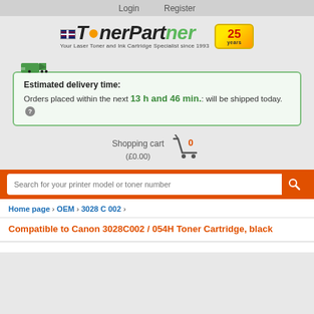Login   Register
[Figure (logo): TonerPartner logo with UK flag, tagline 'Your Laser Toner and Ink Cartridge Specialist since 1993', and 25 years badge]
Estimated delivery time: Orders placed within the next 13 h and 46 min.: will be shipped today. ?
Shopping cart (£0.00)
Search for your printer model or toner number
Home page › OEM › 3028 C 002 ›
Compatible to Canon 3028C002 / 054H Toner Cartridge, black